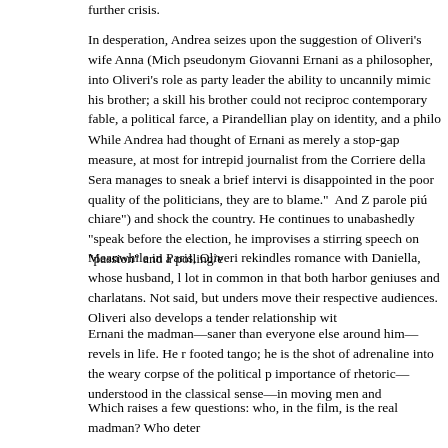further crisis.
In desperation, Andrea seizes upon the suggestion of Oliveri’s wife Anna (Mich pseudonym Giovanni Ernani as a philosopher, into Oliveri’s role as party leader the ability to uncannily mimic his brother; a skill his brother could not reciproc contemporary fable, a political farce, a Pirandellian play on identity, and a philo
While Andrea had thought of Ernani as merely a stop-gap measure, at most for intrepid journalist from the Corriere della Sera manages to sneak a brief intervi is disappointed in the poor quality of the politicians, they are to blame.”  And Z parole piú chiare”) and shock the country. He continues to unabashedly “speak before the election, he improvises a stirring speech on “passion” and a polling/e
Meanwhile in Paris, Oliveri rekindles romance with Daniella, whose husband, l lot in common in that both harbor geniuses and charlatans. Not said, but unders move their respective audiences. Oliveri also develops a tender relationship wit
Ernani the madman—saner than everyone else around him—revels in life. He r footed tango; he is the shot of adrenaline into the weary corpse of the political p importance of rhetoric—understood in the classical sense—in moving men and
Which raises a few questions: who, in the film, is the real madman? Who deter power, but does this mean that Italian politics needs a madman to emerge from As Andrea dryly remarks to Anna: “There a method to his madness. And he’s fu
In the wake of the electoral debacle suffered by American Democrats in the rec Andrea), free yourself from the constraints of “normal” politics, shed your shoe
After a few idyllic days, Oliveri returns to Rome from Paris. As he is driven thr willing to take up the reigns of power and responsibility. When Andrea visits th